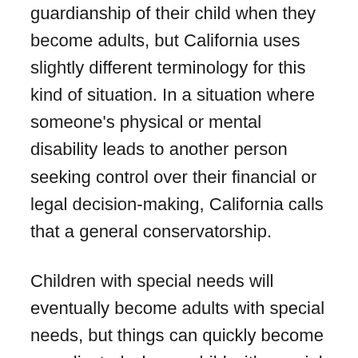guardianship of their child when they become adults, but California uses slightly different terminology for this kind of situation. In a situation where someone's physical or mental disability leads to another person seeking control over their financial or legal decision-making, California calls that a general conservatorship.
Children with special needs will eventually become adults with special needs, but things can quickly become complicated when a child with special needs reaches their 18th birthday. If their parents don't take any special actions, they may no longer have the right to even hear about a child's medical treatment, to say